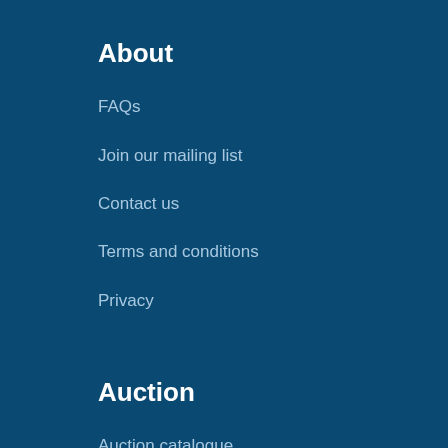About
FAQs
Join our mailing list
Contact us
Terms and conditions
Privacy
Auction
Auction catalogue
Guide to auction selling
Guide to auction buying